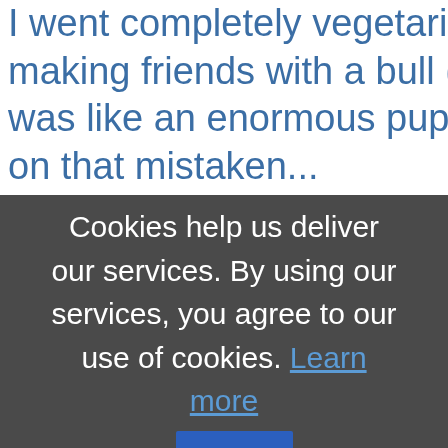I went completely vegetarian in '74 making friends with a bull (not kidd... was like an enormous puppy) and on that mistaken...
Cookies help us deliver our services. By using our services, you agree to our use of cookies. Learn more